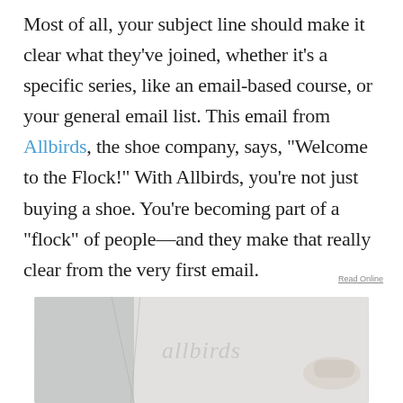Most of all, your subject line should make it clear what they've joined, whether it's a specific series, like an email-based course, or your general email list. This email from Allbirds, the shoe company, says, "Welcome to the Flock!" With Allbirds, you're not just buying a shoe. You're becoming part of a "flock" of people—and they make that really clear from the very first email.
Read Online
[Figure (screenshot): Screenshot of an Allbirds welcome email showing the allbirds logo in cursive script on a light grey/white background]